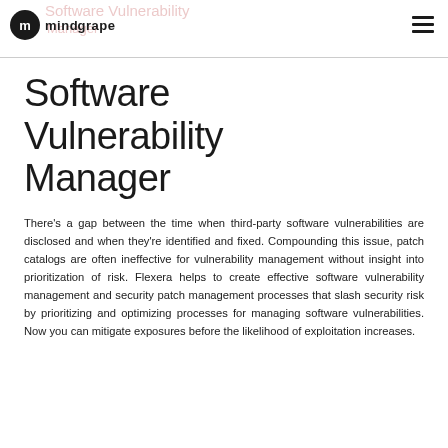mindgrape | Software Vulnerability Manager
Software Vulnerability Manager
There's a gap between the time when third-party software vulnerabilities are disclosed and when they're identified and fixed. Compounding this issue, patch catalogs are often ineffective for vulnerability management without insight into prioritization of risk. Flexera helps to create effective software vulnerability management and security patch management processes that slash security risk by prioritizing and optimizing processes for managing software vulnerabilities. Now you can mitigate exposures before the likelihood of exploitation increases.